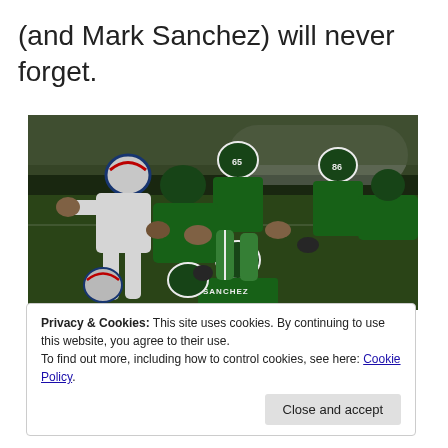(and Mark Sanchez) will never forget.
[Figure (photo): Football game action photo showing New York Jets players in green jerseys (including a player with 'SANCHEZ' and number 6 on jersey, and number 65 and 86) grappling with New England Patriots players in white jerseys during an NFL game.]
Privacy & Cookies: This site uses cookies. By continuing to use this website, you agree to their use.
To find out more, including how to control cookies, see here: Cookie Policy
Close and accept